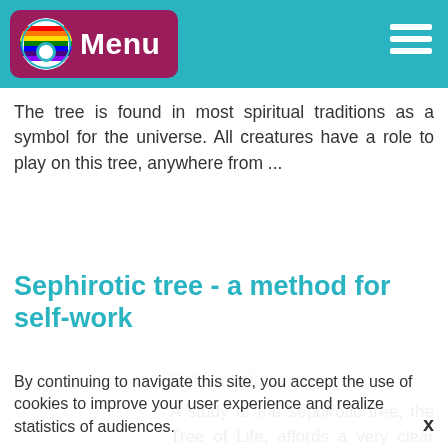Menu
The tree is found in most spiritual traditions as a symbol for the universe. All creatures have a role to play on this tree, anywhere from ...
Sephirotic tree - a method for self-work
Daily meditations
A study of the sephirotic tree, the Tree of Life, affords a very clear view of the spiritual work there is to do ...
By continuing to navigate this site, you accept the use of cookies to improve your user experience and realize statistics of audiences.